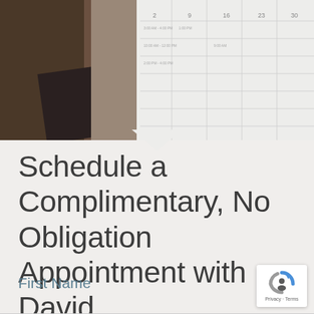[Figure (photo): Photo of a calendar/planner on a desk, partially overlaid with white calendar grid lines visible on the right side. A triangular pointer shape separates the photo from the content below.]
Schedule a Complimentary, No Obligation Appointment with David
First Name
[Figure (other): reCAPTCHA badge showing the reCAPTCHA logo with Privacy and Terms links]